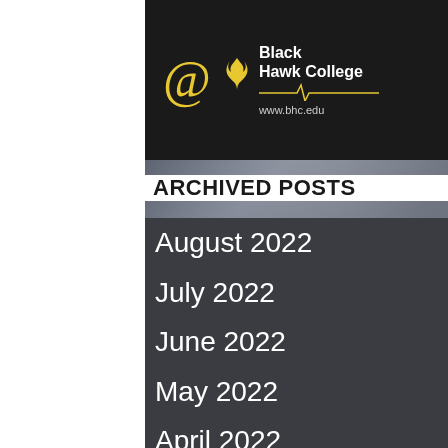[Figure (logo): Black Hawk College banner with @ symbol logo, phoenix/flame icon, heartbeat line graphic, www.bhc.edu URL, and a photo of a person in blue on the right side]
ARCHIVED POSTS
August 2022
July 2022
June 2022
May 2022
April 2022
March 2022
February 2022
January 2022
December 2021
November 2021